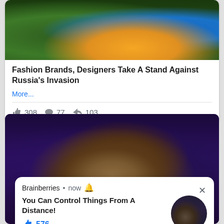[Figure (photo): Fashion photo showing people in orange and blue clothing outdoors]
Fashion Brands, Designers Take A Stand Against Russia's Invasion
More...
308  77  103
[Figure (photo): Horror movie still: person with wide eyes and dark makeup under purple/blue lighting]
Brainberries • now 🔔
You Can Control Things From A Distance!
576